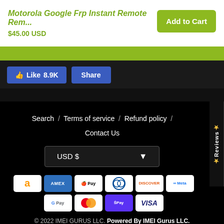Motorola Google Frp Instant Remote Rem...
$45.00 USD
Add to Cart
👍 Like 8.9K   Share
Search / Terms of service / Refund policy / Contact Us
USD $
[Figure (other): Payment method icons: Amazon, AMEX, Apple Pay, Diners, Discover, Meta, Google Pay, Mastercard, ShopPay, Visa]
© 2022 IMEI GURUS LLC. Powered By IMEI Gurus LLC.
✉ Message